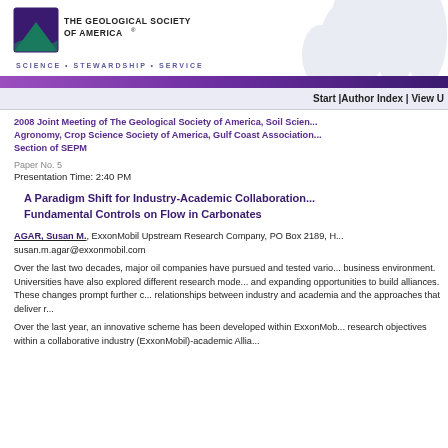[Figure (logo): The Geological Society of America logo with mountain background and tagline SCIENCE • STEWARDSHIP • SERVICE]
Start |Author Index | View U
2008 Joint Meeting of The Geological Society of America, Soil Science Society of America, American Society of Agronomy, Crop Science Society of America, Gulf Coast Association of Geological Societies with the Gulf Section of SEPM
Paper No. 5
Presentation Time: 2:40 PM
A Paradigm Shift for Industry-Academic Collaboration: Fundamental Controls on Flow in Carbonates
AGAR, Susan M., ExxonMobil Upstream Research Company, PO Box 2189, H... susan.m.agar@exxonmobil.com
Over the last two decades, major oil companies have pursued and tested various models to adapt to a changing business environment. Universities have also explored different research models in response to funding challenges and expanding opportunities to build alliances. These changes prompt further consideration of the evolving relationships between industry and academia and the approaches that deliver results.
Over the last year, an innovative scheme has been developed within ExxonMobil to pursue fundamental research objectives within a collaborative industry (ExxonMobil)-academic Allia...